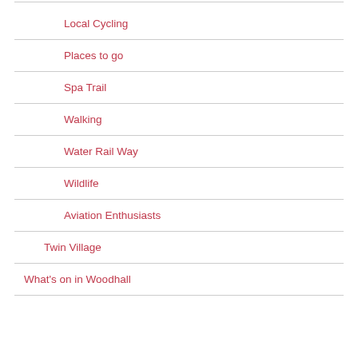Local Cycling
Places to go
Spa Trail
Walking
Water Rail Way
Wildlife
Aviation Enthusiasts
Twin Village
What's on in Woodhall